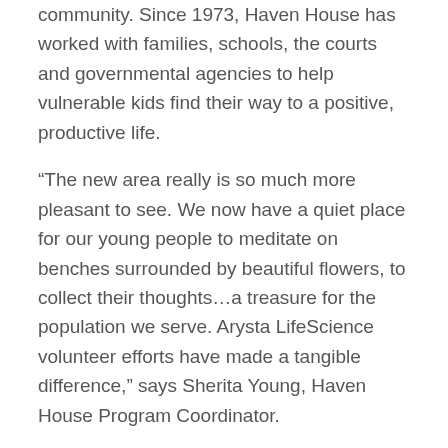community. Since 1973, Haven House has worked with families, schools, the courts and governmental agencies to help vulnerable kids find their way to a positive, productive life.
“The new area really is so much more pleasant to see. We now have a quiet place for our young people to meditate on benches surrounded by beautiful flowers, to collect their thoughts…a treasure for the population we serve. Arysta LifeScience volunteer efforts have made a tangible difference,” says Sherita Young, Haven House Program Coordinator.
Project Scope:
Extensive Brush Clearing